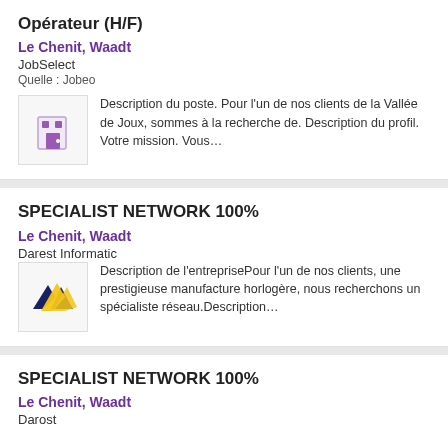Opérateur (H/F)
Le Chenit, Waadt
JobSelect
Quelle : Jobeo
[Figure (logo): JobSelect company logo - purple building/door icon]
Description du poste. Pour l'un de nos clients de la Vallée de Joux, sommes à la recherche de. Description du profil. Votre mission. Vous…
SPECIALIST NETWORK 100%
Le Chenit, Waadt
Darest Informatic
[Figure (logo): Darest Informatic logo - yellow and dark blue angular arrow/chevron shapes]
Description de l'entreprisePour l'un de nos clients, une prestigieuse manufacture horlogère, nous recherchons un spécialiste réseau.Description…
SPECIALIST NETWORK 100%
Le Chenit, Waadt
Darost